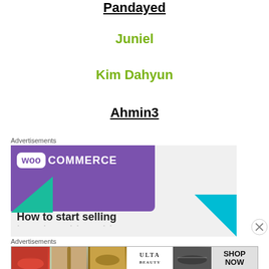Pandayed
Juniel
Kim Dahyun
Ahmin3
Advertisements
[Figure (illustration): WooCommerce advertisement banner showing purple background with WooCommerce logo and text 'How to start selling']
Advertisements
[Figure (illustration): Ulta Beauty advertisement banner showing makeup photos and SHOP NOW button]